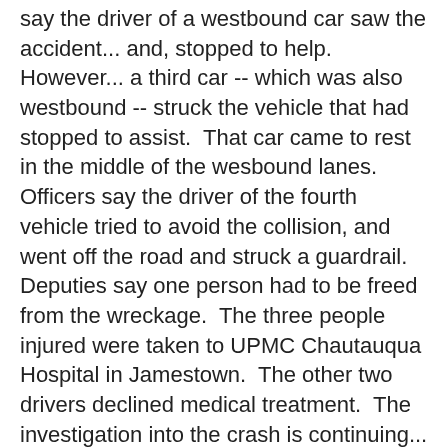say the driver of a westbound car saw the accident... and, stopped to help.  However... a third car -- which was also westbound -- struck the vehicle that had stopped to assist.  That car came to rest in the middle of the wesbound lanes.  Officers say the driver of the fourth vehicle tried to avoid the collision, and went off the road and struck a guardrail.  Deputies say one person had to be freed from the wreckage.  The three people injured were taken to UPMC Chautauqua Hospital in Jamestown.  The other two drivers declined medical treatment.  The investigation into the crash is continuing... and, officers say charges are pending.
Tenney gets required number of GOP and Conservative signatures to get on ballot for 23rd Congressional District...
Upstate New York Congresswoman Claudia Tenney says she's filed petitions with more than 9-thousand Republican and Conservative Party signatures in the new